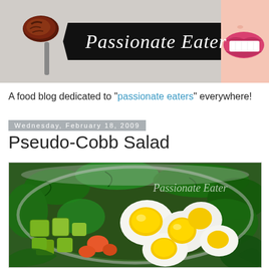[Figure (photo): Passionate Eater blog header banner with food on fork on left, black ribbon logo in center reading 'Passionate Eater', smiling mouth on right]
A food blog dedicated to "passionate eaters" everywhere!
Wednesday, February 18, 2009
Pseudo-Cobb Salad
[Figure (photo): Close-up photo of a Pseudo-Cobb Salad in a silver bowl showing avocado cubes, hard boiled egg halves, greens (spinach/arugula), and tomatoes, with 'Passionate Eater' watermark in upper right]